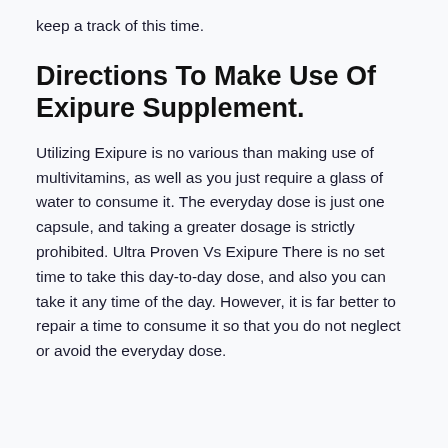keep a track of this time.
Directions To Make Use Of Exipure Supplement.
Utilizing Exipure is no various than making use of multivitamins, as well as you just require a glass of water to consume it. The everyday dose is just one capsule, and taking a greater dosage is strictly prohibited. Ultra Proven Vs Exipure There is no set time to take this day-to-day dose, and also you can take it any time of the day. However, it is far better to repair a time to consume it so that you do not neglect or avoid the everyday dose.